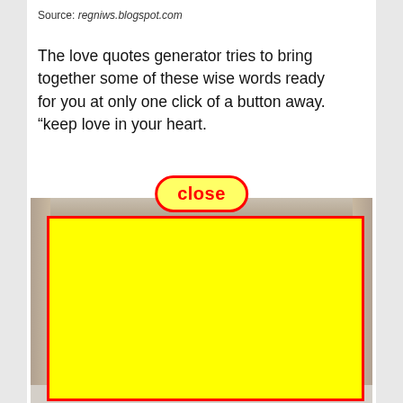Source: regniws.blogspot.com
The love quotes generator tries to bring together some of these wise words ready for you at only one click of a button away. “keep love in your heart.
[Figure (screenshot): A close button (red outlined rounded rectangle with yellow background and red bold text 'close') overlaid on a photo area. Below is a large yellow rectangle with a red border overlaid on what appears to be a photo of people. The bottom shows a partial view of social media icons.]